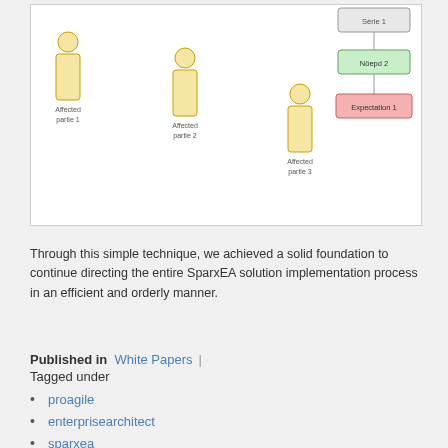[Figure (illustration): Diagram showing three stakeholder figures labeled 'Affected partie 1', 'Affected partie 2', 'Affected partie 3' on the left, and on the right a hierarchy with boxes: 'Série 1' (top), 'Nöepd 2' (middle, green), 'Expectation 1' (bottom, red/pink).]
Through this simple technique, we achieved a solid foundation to continue directing the entire SparxEA solution implementation process in an efficient and orderly manner.
Published in  White Papers  |  Tagged under
proagile
enterprisearchitect
sparxea
sparxea_espanol
stakeholders modelling